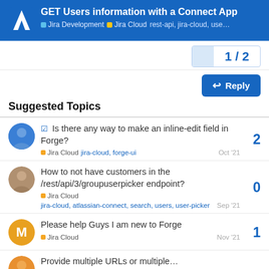GET Users information with a Connect App — Jira Development | Jira Cloud  rest-api, jira-cloud, use...
1 / 2
Reply
Suggested Topics
Is there any way to make an inline-edit field in Forge? — Jira Cloud  jira-cloud, forge-ui — Oct '21 — 2 replies
How to not have customers in the /rest/api/3/groupuserpicker endpoint? — Jira Cloud  jira-cloud, atlassian-connect, search, users, user-picker — Sep '21 — 0 replies
Please help Guys I am new to Forge — Jira Cloud — Nov '21 — 1 reply
Provide multiple URLs or multiple...